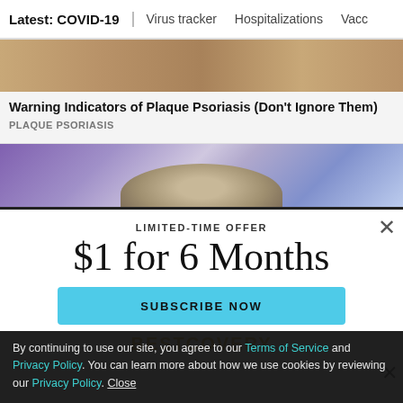Latest: COVID-19   Virus tracker   Hospitalizations   Vacc
[Figure (photo): Top portion of an advertisement image - skin tones, appears to be a medical/skin ad]
Warning Indicators of Plaque Psoriasis (Don't Ignore Them)
PLAQUE PSORIASIS
[Figure (photo): Second advertisement image - purple/blue background with a person's head/hair visible]
LIMITED-TIME OFFER
$1 for 6 Months
SUBSCRIBE NOW
By continuing to use our site, you agree to our Terms of Service and Privacy Policy. You can learn more about how we use cookies by reviewing our Privacy Policy. Close